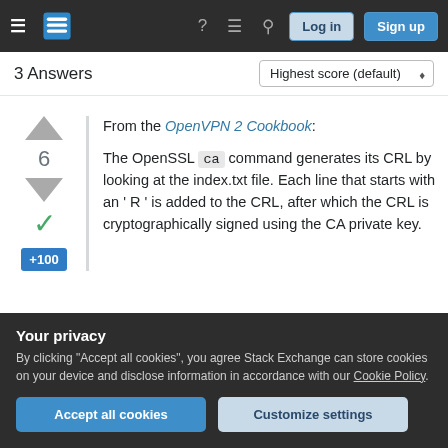Stack Exchange navigation bar with Log in and Sign up buttons
3 Answers
Highest score (default)
From the OpenVPN 2 Cookbook: The OpenSSL ca command generates its CRL by looking at the index.txt file. Each line that starts with an ' R ' is added to the CRL, after which the CRL is cryptographically signed using the CA private key.
Your privacy
By clicking "Accept all cookies", you agree Stack Exchange can store cookies on your device and disclose information in accordance with our Cookie Policy.
Accept all cookies
Customize settings